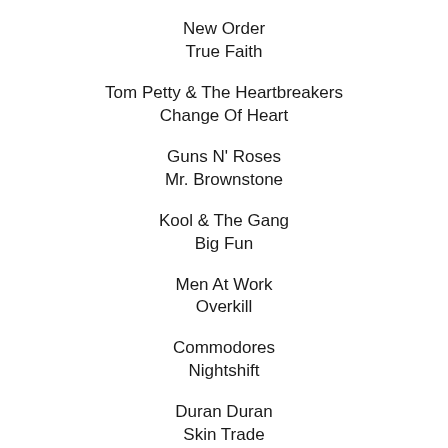New Order
True Faith
Tom Petty & The Heartbreakers
Change Of Heart
Guns N' Roses
Mr. Brownstone
Kool & The Gang
Big Fun
Men At Work
Overkill
Commodores
Nightshift
Duran Duran
Skin Trade